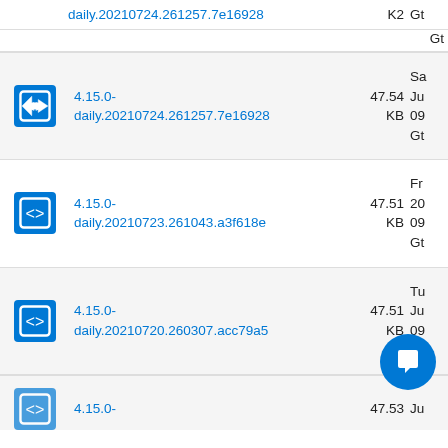| Icon | Name | Size | Date |
| --- | --- | --- | --- |
| [icon] | 4.15.0-daily.20210724.261257.7e16928 | 47.54 KB | Sa Ju 09 Gh |
| [icon] | 4.15.0-daily.20210723.261043.a3f618e | 47.51 KB | Fr 20 09 Gh |
| [icon] | 4.15.0-daily.20210720.260307.acc79a5 | 47.51 KB | Tu Ju 09 Gh |
| [icon] | 4.15.0- | 47.53 | Ju |